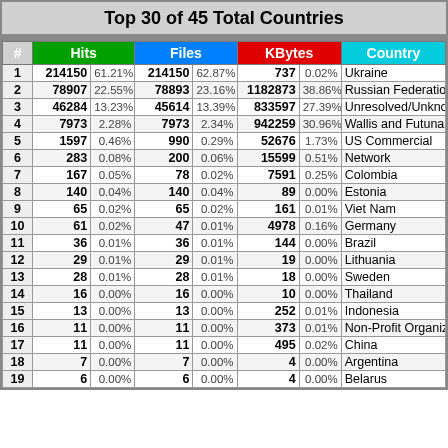Top 30 of 45 Total Countries
| # | Hits |  | Files |  | KBytes |  | Country |
| --- | --- | --- | --- | --- | --- | --- | --- |
| 1 | 214150 | 61.21% | 214150 | 62.87% | 737 | 0.02% | Ukraine |
| 2 | 78907 | 22.55% | 78893 | 23.16% | 1182873 | 38.86% | Russian Federation |
| 3 | 46284 | 13.23% | 45614 | 13.39% | 833597 | 27.39% | Unresolved/Unknown |
| 4 | 7973 | 2.28% | 7973 | 2.34% | 942259 | 30.96% | Wallis and Futuna Is |
| 5 | 1597 | 0.46% | 990 | 0.29% | 52676 | 1.73% | US Commercial |
| 6 | 283 | 0.08% | 200 | 0.06% | 15599 | 0.51% | Network |
| 7 | 167 | 0.05% | 78 | 0.02% | 7591 | 0.25% | Colombia |
| 8 | 140 | 0.04% | 140 | 0.04% | 89 | 0.00% | Estonia |
| 9 | 65 | 0.02% | 65 | 0.02% | 161 | 0.01% | Viet Nam |
| 10 | 61 | 0.02% | 47 | 0.01% | 4978 | 0.16% | Germany |
| 11 | 36 | 0.01% | 36 | 0.01% | 144 | 0.00% | Brazil |
| 12 | 29 | 0.01% | 29 | 0.01% | 19 | 0.00% | Lithuania |
| 13 | 28 | 0.01% | 28 | 0.01% | 18 | 0.00% | Sweden |
| 14 | 16 | 0.00% | 16 | 0.00% | 10 | 0.00% | Thailand |
| 15 | 13 | 0.00% | 13 | 0.00% | 252 | 0.01% | Indonesia |
| 16 | 11 | 0.00% | 11 | 0.00% | 373 | 0.01% | Non-Profit Organiza |
| 17 | 11 | 0.00% | 11 | 0.00% | 495 | 0.02% | China |
| 18 | 7 | 0.00% | 7 | 0.00% | 4 | 0.00% | Argentina |
| 19 | 6 | 0.00% | 6 | 0.00% | 4 | 0.00% | Belarus |